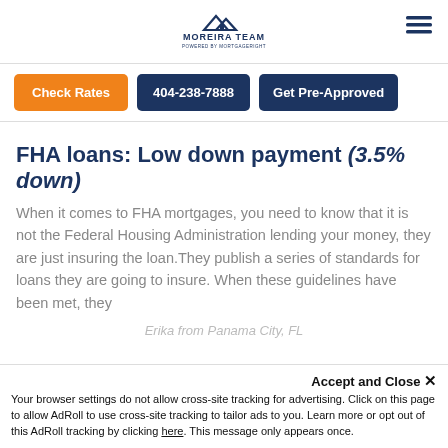Moreira Team logo and navigation
Check Rates | 404-238-7888 | Get Pre-Approved
FHA loans: Low down payment (3.5% down)
When it comes to FHA mortgages, you need to know that it is not the Federal Housing Administration lending your money, they are just insuring the loan.They publish a series of standards for loans they are going to insure. When these guidelines have been met, they
Erika from Panama City, FL
Accept and Close ✕
Your browser settings do not allow cross-site tracking for advertising. Click on this page to allow AdRoll to use cross-site tracking to tailor ads to you. Learn more or opt out of this AdRoll tracking by clicking here. This message only appears once.